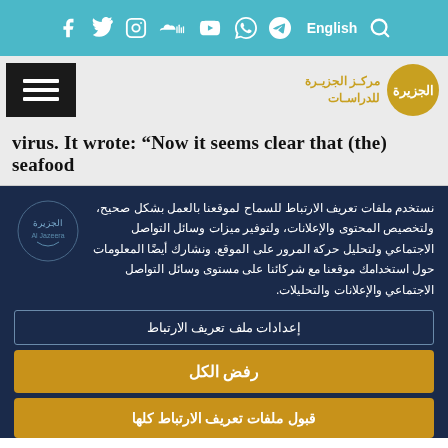Social media icons bar with Facebook, Twitter, Instagram, SoundCloud, YouTube, WhatsApp, Telegram, English, Search
[Figure (screenshot): Al Jazeera Studies Center logo with Arabic text مركز الجزيرة للدراسات and circular logo]
virus. It wrote: “Now it seems clear that (the) seafood
نستخدم ملفات تعريف الارتباط للسماح لموقعنا بالعمل بشكل صحيح، ولتخصيص المحتوى والإعلانات، ولتوفير ميزات وسائل التواصل الاجتماعي ولتحليل حركة المرور على الموقع. ونشارك أيضًا المعلومات حول استخدامك موقعنا مع شركائنا على مستوى وسائل التواصل الاجتماعي والإعلانات والتحليلات.
إعدادات ملف تعريف الارتباط
رفض الكل
قبول ملفات تعريف الارتباط كلها